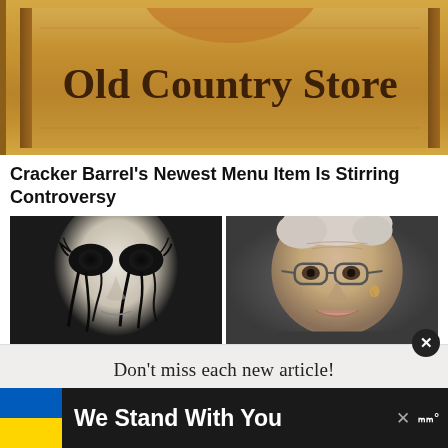[Figure (photo): Cracker Barrel Old Country Store sign, golden brown wooden sign with dark text]
Cracker Barrel's Newest Menu Item Is Stirring Controversy
[Figure (photo): Black and white artistic photo of a woman with dark dramatic eye makeup with dripping black streaks]
[Figure (photo): Color photo of Stephen Hawking wearing glasses]
Don't miss each new article!
Email Address...
[Figure (screenshot): Advertisement banner: We Stand With You with Ukraine flag colors (blue and yellow)]